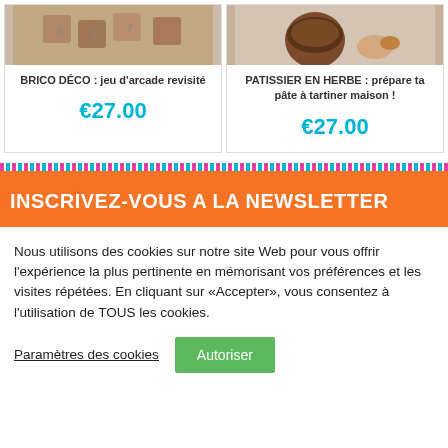[Figure (photo): Photo of wooden craft/arcade game blocks (top of left product card, partially visible)]
BRICO DÉCO : jeu d'arcade revisité
€27.00
[Figure (photo): Photo of chocolate spread in mug with biscuits (top of right product card, partially visible)]
PATISSIER EN HERBE : prépare ta pâte à tartiner maison !
€27.00
INSCRIVEZ-VOUS A LA NEWSLETTER
Nous utilisons des cookies sur notre site Web pour vous offrir l'expérience la plus pertinente en mémorisant vos préférences et les visites répétées. En cliquant sur «Accepter», vous consentez à l'utilisation de TOUS les cookies.
Paramètres des cookies
Autoriser